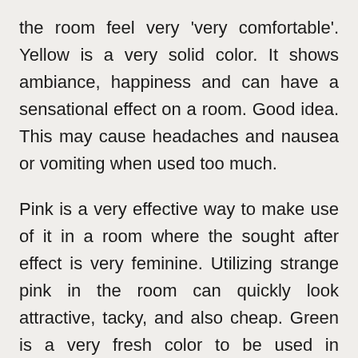the room feel very 'very comfortable'. Yellow is a very solid color. It shows ambiance, happiness and can have a sensational effect on a room. Good idea. This may cause headaches and nausea or vomiting when used too much.
Pink is a very effective way to make use of it in a room where the sought after effect is very feminine. Utilizing strange pink in the room can quickly look attractive, tacky, and also cheap. Green is a very fresh color to be used in virtually all rooms. This is especially suitable using bathrooms and children's suites because of their natural feelings. Environment friendly can have a very comfortable result and can be used in the bedroom. Bright orange. Attractive colors this appeal to the mind. You can use oranges in any room you want to truly feel